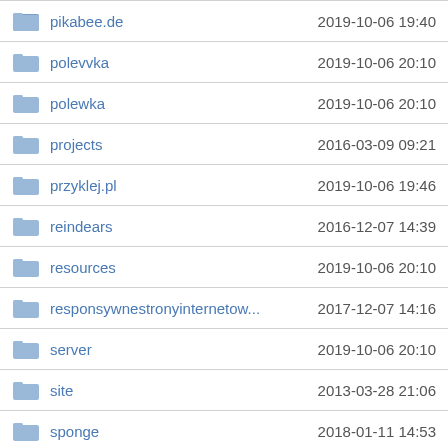pikabee.de	2019-10-06 19:40
polevvka	2019-10-06 20:10
polewka	2019-10-06 20:10
projects	2016-03-09 09:21
przyklej.pl	2019-10-06 19:46
reindears	2016-12-07 14:39
resources	2019-10-06 20:10
responsywnestronyinternetow...	2017-12-07 14:16
server	2019-10-06 20:10
site	2013-03-28 21:06
sponge	2018-01-11 14:53
spongebob	2018-01-09 14:14
squid	2017-12-07 14:15